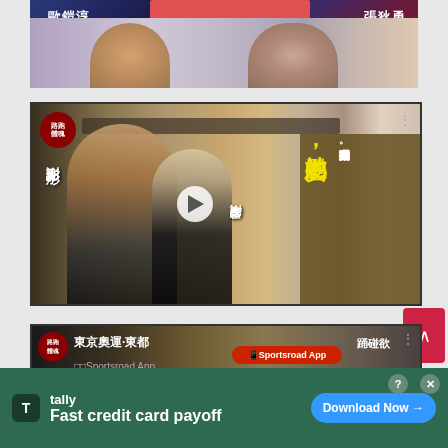[Figure (screenshot): Top image showing two people with Chinese names 歐鎧淳 (left) and 張狄勇 (right) on a colorful background with a redacted/blurred bar at top center]
[Figure (screenshot): Video thumbnail showing two people (謝影彤 and 謝影雪) with Chinese text overlay reading 她的安慰，擺令我重拾比賽動力。 with a play button in center and a sports program logo in top left corner]
[Figure (screenshot): Partial video thumbnail at bottom showing a sports program with Tokyo Olympics text and a red bar with Sportsroad App text]
Fast credit card payoff
tally
Download Now →